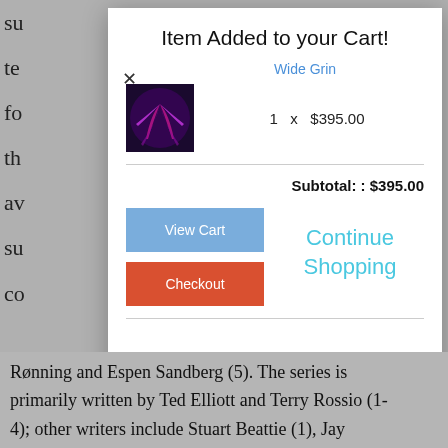su te fo th av su co Pi fi B D D 1-
Item Added to your Cart!
Wide Grin
1  x  $395.00
Subtotal: : $395.00
View Cart
Continue Shopping
Checkout
Rønning and Espen Sandberg (5). The series is primarily written by Ted Elliott and Terry Rossio (1-4); other writers include Stuart Beattie (1), Jay